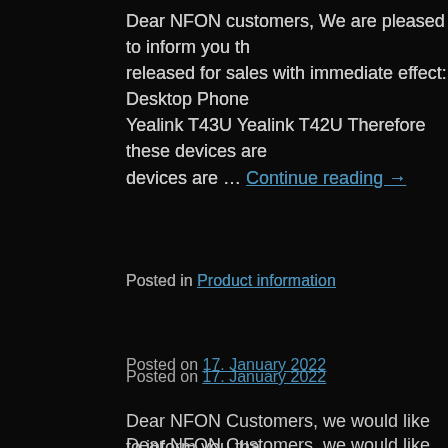Dear NFON customers, We are pleased to inform you that the following devices are released for sales with immediate effect: Desktop Phone Yealink T43U Yealink T42U Therefore these devices are … Continue reading →
Posted in Product information
Posted on 17. January 2022
Dear NFON Customers, we would like to inform you that the following device is officially "End of Sale": Poly Soundstation 5000 The manufacturer does not offer a successor for the above mentioned products. Support for these devices is available until … Continue reading →
Posted in Product information